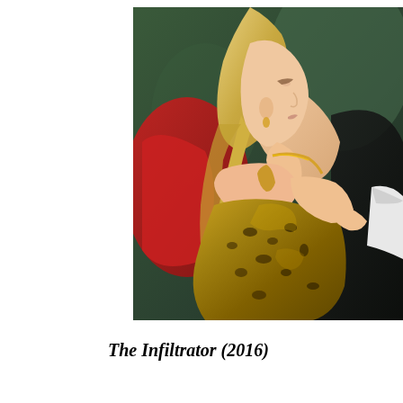[Figure (photo): A blonde woman with her hair in a high ponytail, wearing a gold and black leopard-print sleeveless dress and a gold necklace, shown in profile view. She is seated, with a red cushion visible behind her and dark fabric to the right. Another person's white-sleeved arm is partially visible at the right edge. The setting appears elegant and dimly lit with green-tinted background.]
The Infiltrator (2016)